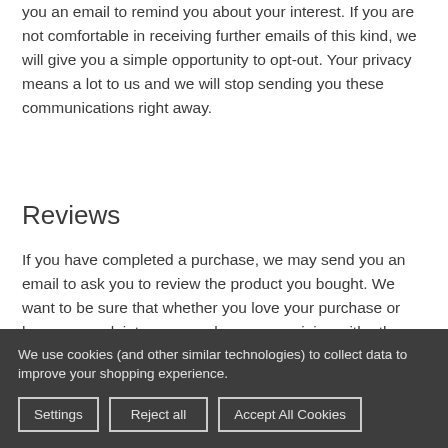you an email to remind you about your interest. If you are not comfortable in receiving further emails of this kind, we will give you a simple opportunity to opt-out. Your privacy means a lot to us and we will stop sending you these communications right away.
Reviews
If you have completed a purchase, we may send you an email to ask you to review the product you bought. We want to be sure that whether you love your purchase or have a complaint, you can share your opinion with other customers.
Personalisation
We use cookies (and other similar technologies) to collect data to improve your shopping experience.
Settings  Reject all  Accept All Cookies